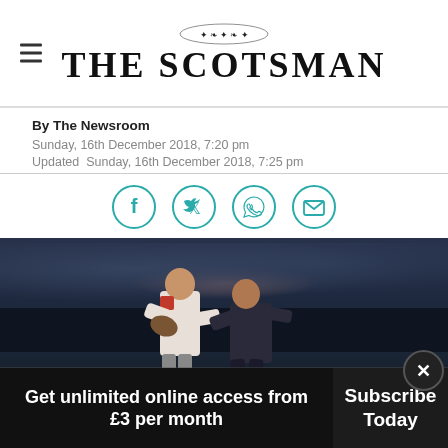THE SCOTSMAN
By The Newsroom
Sunday, 16th December 2018, 7:20 pm
Updated  Sunday, 16th December 2018, 7:25 pm
[Figure (other): Social sharing icons: Facebook, Twitter, WhatsApp, Email in teal circles]
[Figure (photo): Rugby players in action, one player in white/grey kit carrying ball being tackled by player in dark kit, indoor arena with crowd in background]
Get unlimited online access from £3 per month
Subscribe Today